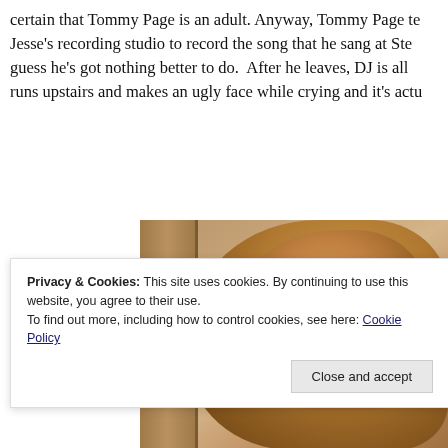certain that Tommy Page is an adult. Anyway, Tommy Page tells Jesse's recording studio to record the song that he sang at Steph guess he's got nothing better to do. After he leaves, DJ is all li runs upstairs and makes an ugly face while crying and it's actua
[Figure (photo): Close-up photo of a young child with light brown hair in a ponytail, partially obscured, near a wooden door frame.]
Privacy & Cookies: This site uses cookies. By continuing to use this website, you agree to their use. To find out more, including how to control cookies, see here: Cookie Policy
Close and accept